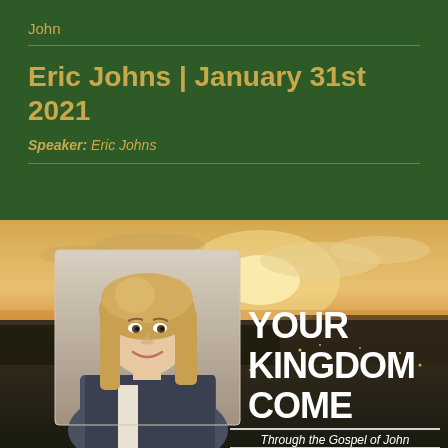John
Eric Johns | January 31st 2021
Speaker: Eric Johns
[Figure (illustration): Aerial sunset cityscape photo with overlay text 'YOUR KINGDOM COME Through the Gospel of John' and inset portrait photo of a woman with long blonde hair smiling, wearing a dark jacket.]